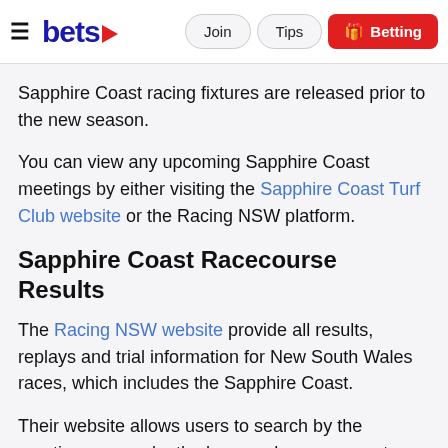bets | Join | Tips | Betting
Sapphire Coast racing fixtures are released prior to the new season.
You can view any upcoming Sapphire Coast meetings by either visiting the Sapphire Coast Turf Club website or the Racing NSW platform.
Sapphire Coast Racecourse Results
The Racing NSW website provide all results, replays and trial information for New South Wales races, which includes the Sapphire Coast.
Their website allows users to search by the meeting or even by the horse, where you can type in the runner